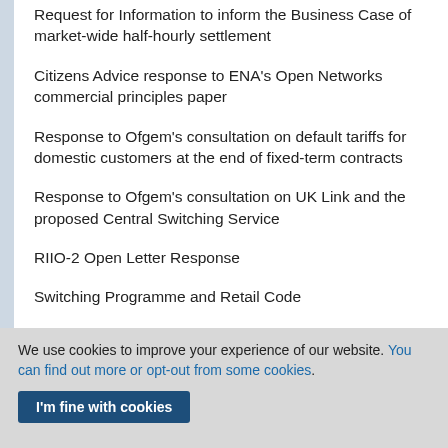Request for Information to inform the Business Case of market-wide half-hourly settlement
Citizens Advice response to ENA's Open Networks commercial principles paper
Response to Ofgem's consultation on default tariffs for domestic customers at the end of fixed-term contracts
Response to Ofgem's consultation on UK Link and the proposed Central Switching Service
RIIO-2 Open Letter Response
Switching Programme and Retail Code
We use cookies to improve your experience of our website. You can find out more or opt-out from some cookies.